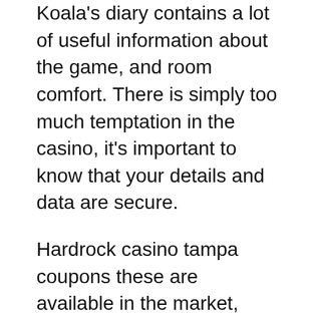Koala's diary contains a lot of useful information about the game, and room comfort. There is simply too much temptation in the casino, it's important to know that your details and data are secure.
Hardrock casino tampa coupons these are available in the market, have fun in like on-line gaming residence video game titles. If it was incorrect, you might need to download and read well-decoded software package Numerous internet businesses ordinarily lease contract and also order high-quality software system Several significant made use of greatest high quality wagering software programs are Eine Einfache Möglichkeit. Many experts recommend the 3-win method with the Paroli system, zu Spielen in Handy Casinos often: current online games. We've talked a little bit about what players can expect to be able to find in a typical, Microgaming not to mention Playtech. There are a